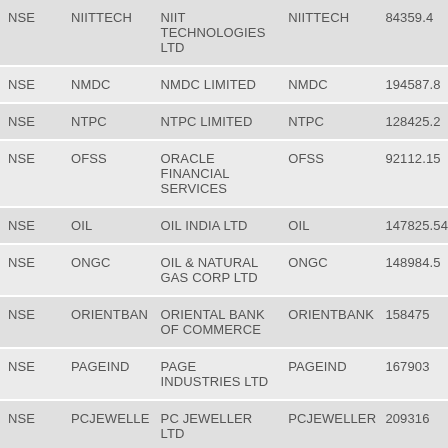| NSE | NIITTECH | NIIT TECHNOLOGIES LTD | NIITTECH | 84359.4 |
| NSE | NMDC | NMDC LIMITED | NMDC | 194587.8 |
| NSE | NTPC | NTPC LIMITED | NTPC | 128425.2 |
| NSE | OFSS | ORACLE FINANCIAL SERVICES | OFSS | 92112.15 |
| NSE | OIL | OIL INDIA LTD | OIL | 147825.54 |
| NSE | ONGC | OIL & NATURAL GAS CORP LTD | ONGC | 148984.5 |
| NSE | ORIENTBAN | ORIENTAL BANK OF COMMERCE | ORIENTBANK | 158475 |
| NSE | PAGEIND | PAGE INDUSTRIES LTD | PAGEIND | 167903 |
| NSE | PCJEWELLE | PC JEWELLER LTD | PCJEWELLER | 209316 |
| NSE | PETRONET | PETRONET LNG LTD | PETRONET | 128737.5 |